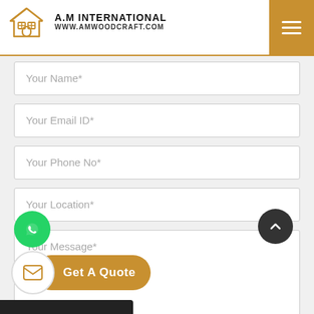A.M INTERNATIONAL www.amwoodcraft.com
Your Name*
Your Email ID*
Your Phone No*
Your Location*
Your Message*
[Figure (illustration): WhatsApp floating button (green circle with WhatsApp logo)]
[Figure (illustration): Scroll to top button (dark circle with upward chevron)]
Get A Quote